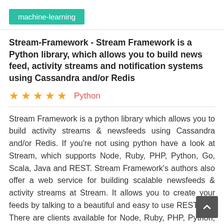machine-learning
Stream-Framework - Stream Framework is a Python library, which allows you to build news feed, activity streams and notification systems using Cassandra and/or Redis
★★★★★  Python
Stream Framework is a python library which allows you to build activity streams & newsfeeds using Cassandra and/or Redis. If you're not using python have a look at Stream, which supports Node, Ruby, PHP, Python, Go, Scala, Java and REST. Stream Framework's authors also offer a web service for building scalable newsfeeds & activity streams at Stream. It allows you to create your feeds by talking to a beautiful and easy to use REST API. There are clients available for Node, Ruby, PHP, Python, Go, Scala and Java. The Get